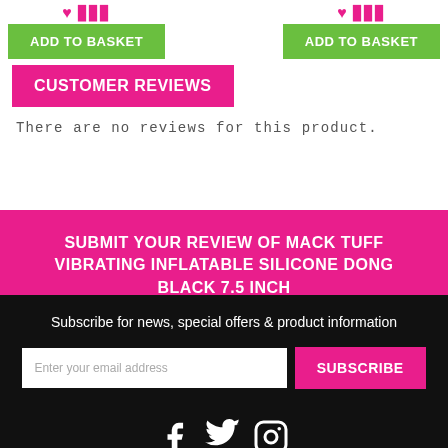ADD TO BASKET (x2 buttons)
CUSTOMER REVIEWS
There are no reviews for this product.
SUBMIT YOUR REVIEW OF MACK TUFF VIBRATING INFLATABLE SILICONE DONG BLACK 7.5 INCH
Subscribe for news, special offers & product information
Enter your email address
SUBSCRIBE